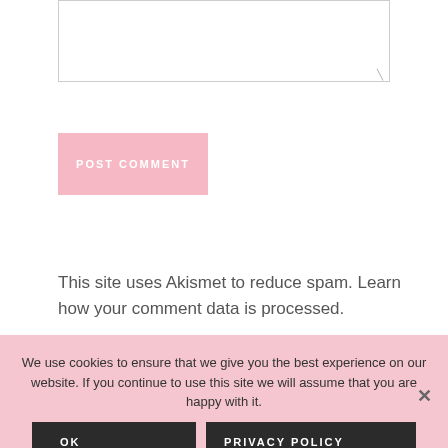[textarea input box]
POST COMMENT
This site uses Akismet to reduce spam. Learn how your comment data is processed.
WELCOME DARLING
We use cookies to ensure that we give you the best experience on our website. If you continue to use this site we will assume that you are happy with it.
OK
PRIVACY POLICY